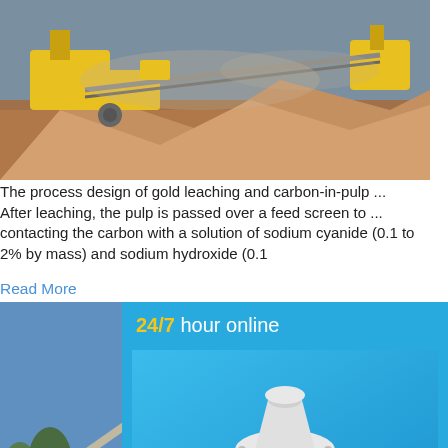[Figure (photo): Mining/crushing equipment on a job site with orange/brown terrain and yellow machinery]
The process design of gold leaching and carbon-in-pulp ...
After leaching, the pulp is passed over a feed screen to ...
contacting the carbon with a solution of sodium cyanide (0.1 to
2% by mass) and sodium hydroxide (0.1
Read More
[Figure (photo): Industrial facility with tall towers and equipment, likely a cement or chemical plant]
stone crushers factories in canada,carbon screen...
400,000 tons of quartz stone crushing prod...li
Arabia. The quartz stone crushing processi...is
designed by our company on the
Read More
[Figure (photo): Cone crusher machine (white and red/orange) displayed on blue background]
24/7 hour online
Click me to chat>>
Enquiry
limingjlmofen